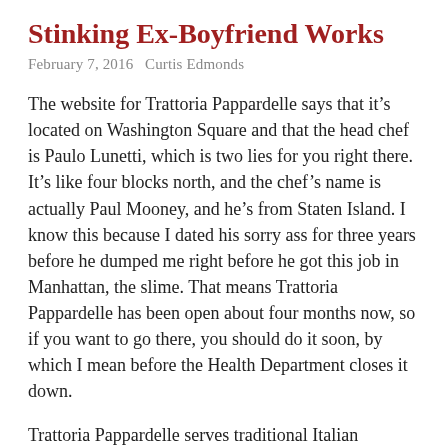Stinking Ex-Boyfriend Works
February 7, 2016   Curtis Edmonds
The website for Trattoria Pappardelle says that it's located on Washington Square and that the head chef is Paulo Lunetti, which is two lies for you right there. It's like four blocks north, and the chef's name is actually Paul Mooney, and he's from Staten Island. I know this because I dated his sorry ass for three years before he dumped me right before he got this job in Manhattan, the slime. That means Trattoria Pappardelle has been open about four months now, so if you want to go there, you should do it soon, by which I mean before the Health Department closes it down.
Trattoria Pappardelle serves traditional Italian